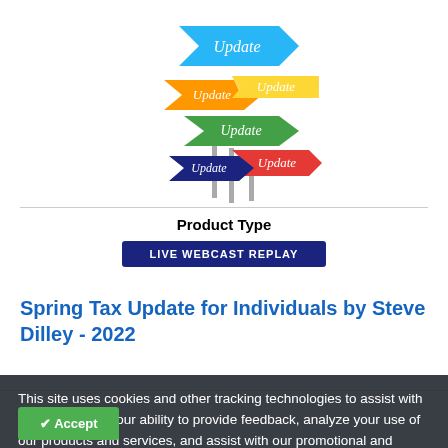[Figure (illustration): Colorful arrow-shaped signs stacked pointing right, each with the word 'Update' written in italic white text. Colors include blue, orange, green, yellow, red, and dark blue.]
Product Type
LIVE WEBCAST REPLAY
Spring Tax Update for Individuals by Steve Dilley - 2022
This site uses cookies and other tracking technologies to assist with navigation and your ability to provide feedback, analyze your use of our products and services, and assist with our promotional and marketing efforts.
More Information
Accept